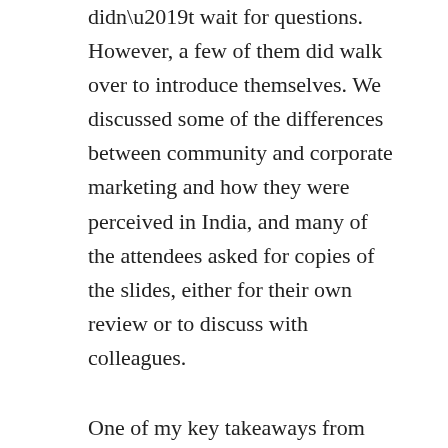didn't wait for questions. However, a few of them did walk over to introduce themselves. We discussed some of the differences between community and corporate marketing and how they were perceived in India, and many of the attendees asked for copies of the slides, either for their own review or to discuss with colleagues.
One of my key takeaways from the various conversations I had after the session was that community development in India is yet to be perceived as a valuable service. Most vendors still prefer to adopt traditional “top down” marketing, rather than the “bottom-up” adoption that’s more common in open source communities. Nevertheless, most of the people I spoke to agreed that community development was gradually becoming more important in India, especially with the growth of home-grown open source vendors